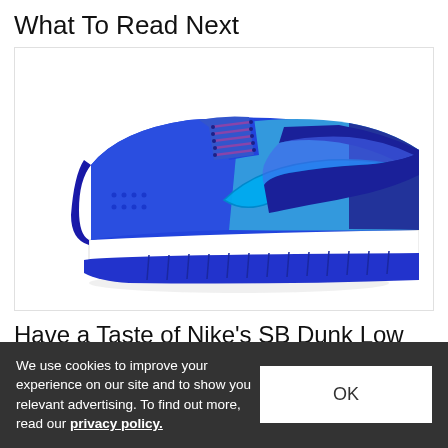What To Read Next
[Figure (photo): Nike SB Dunk Low 'Blue Raspberry' sneaker — a low-top shoe in royal blue and bright blue colorway with purple laces, white midsole, and blue rubber outsole, displayed on a white background.]
Have a Taste of Nike's SB Dunk Low “Blue
We use cookies to improve your experience on our site and to show you relevant advertising. To find out more, read our privacy policy.